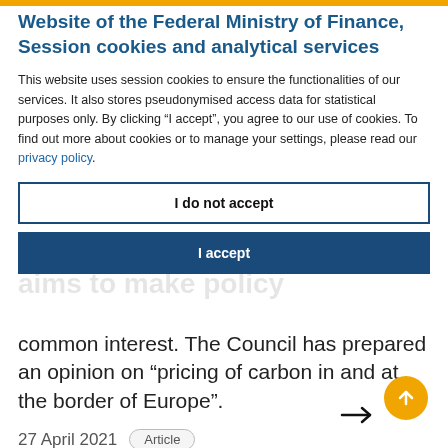Website of the Federal Ministry of Finance, Session cookies and analytical services
This website uses session cookies to ensure the functionalities of our services. It also stores pseudonymised access data for statistical purposes only. By clicking “I accept”, you agree to our use of cookies. To find out more about cookies or to manage your settings, please read our privacy policy.
I do not accept
I accept
common interest. The Council has prepared an opinion on “pricing of carbon in and at the border of Europe”.
27 April 2021
Article